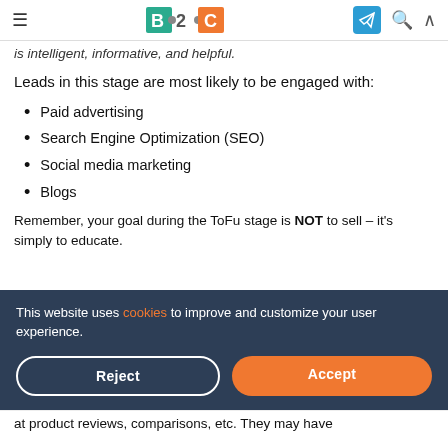B2C [logo] — navigation bar with hamburger menu, Telegram icon, search icon, up arrow
is intelligent, informative, and helpful.
Leads in this stage are most likely to be engaged with:
Paid advertising
Search Engine Optimization (SEO)
Social media marketing
Blogs
Remember, your goal during the ToFu stage is NOT to sell – it's simply to educate.
This website uses cookies to improve and customize your user experience.
at product reviews, comparisons, etc. They may have